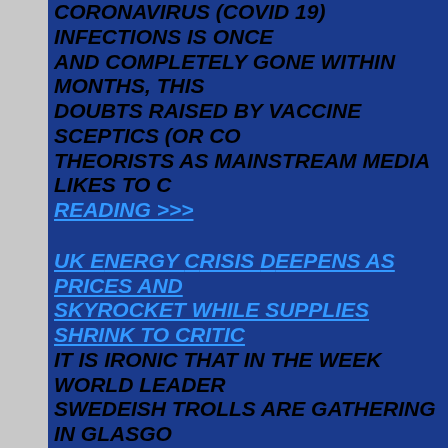CORONAVIRUS (COVID 19) INFECTIONS IS ONCE AND COMPLETELY GONE WITHIN MONTHS, THIS DOUBTS RAISED BY VACCINE SCEPTICS (OR CO THEORISTS AS MAINSTREAM MEDIA LIKES TO C READING >>>
UK ENERGY CRISIS DEEPENS AS PRICES AND SKYROCKET WHILE SUPPLIES SHRINK TO CRITIC IT IS IRONIC THAT IN THE WEEK WORLD LEADER SWEDEISH TROLLS ARE GATHERING IN GLASGO VIRTUE SIGNALLING THAT WILL INEVITABLY DRIV PEOPLE IN THE DEVELOPED WORLD INTO FUEL RESULT IN MORE INDUSTRIAL JOBS BEING EXPO WEST TO THE WORLDÂ€™S MAJOR PRODUCER DIOXIDE EMISSIONS, CHINA AND INDIA, THE EN IS AFFECTING THE WHOLE OF EUROPE IS ABOU UNITED KINGDOM EXTREMELY HARD. ... CONT